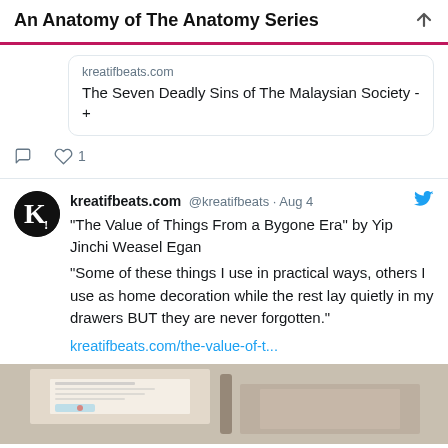An Anatomy of The Anatomy Series
kreatifbeats.com
The Seven Deadly Sins of The Malaysian Society - +
♡ 1
kreatifbeats.com @kreatifbeats · Aug 4
"The Value of Things From a Bygone Era" by Yip Jinchi Weasel Egan

"Some of these things I use in practical ways, others I use as home decoration while the rest lay quietly in my drawers BUT they are never forgotten."

kreatifbeats.com/the-value-of-t...
[Figure (photo): Photo of documents/papers on a table, partially visible at bottom of page]